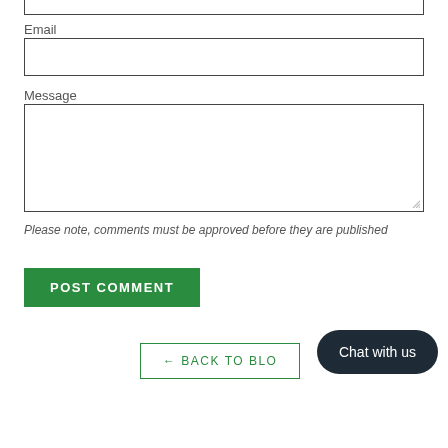Email
[Figure (other): Empty email input field with border]
Message
[Figure (other): Empty message textarea with resize handle]
Please note, comments must be approved before they are published
POST COMMENT
← BACK TO BLOG
Chat with us